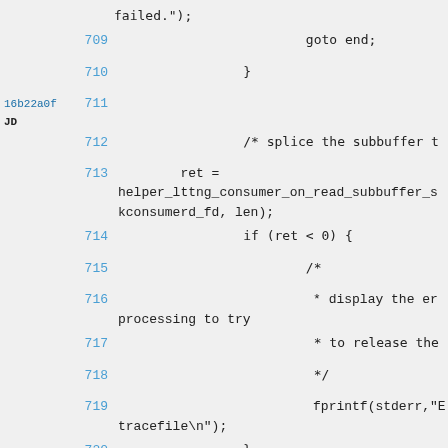failed.");
709    goto end;
710    }
16b22a0f 711
JD
712    /* splice the subbuffer t
713    ret =
        helper_lttng_consumer_on_read_subbuffer_s
        kconsumerd_fd, len);
714    if (ret < 0) {
715    /*
716    * display the er
        processing to try
717    * to release the
718    */
719    fprintf(stderr,"E
        tracefile\n");
720    }